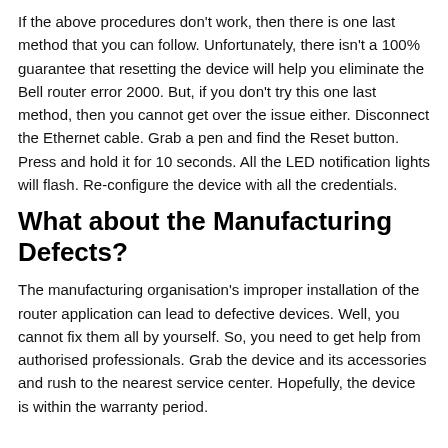If the above procedures don't work, then there is one last method that you can follow. Unfortunately, there isn't a 100% guarantee that resetting the device will help you eliminate the Bell router error 2000. But, if you don't try this one last method, then you cannot get over the issue either. Disconnect the Ethernet cable. Grab a pen and find the Reset button. Press and hold it for 10 seconds. All the LED notification lights will flash. Re-configure the device with all the credentials.
What about the Manufacturing Defects?
The manufacturing organisation's improper installation of the router application can lead to defective devices. Well, you cannot fix them all by yourself. So, you need to get help from authorised professionals. Grab the device and its accessories and rush to the nearest service center. Hopefully, the device is within the warranty period.